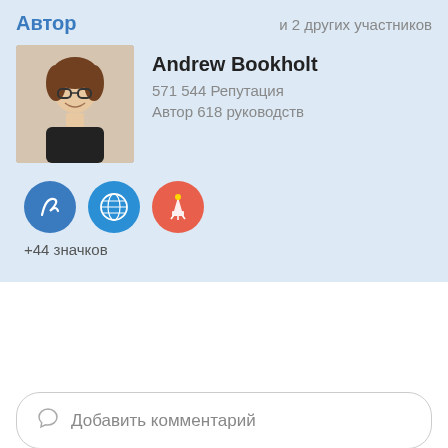Автор
и 2 других участников
[Figure (photo): Profile photo of Andrew Bookholt, a young man with glasses smiling]
Andrew Bookholt
571 544 Репутация
Автор 618 руководств
[Figure (infographic): Three circular badges: blue with cursive R, blue-teal with globe icon, orange-red with rocket/firework icon]
+44 значков
Добавить комментарий
Добавить комментарий